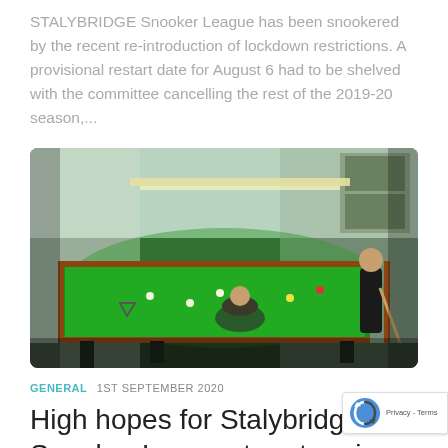STALYBRIDGE Snooker League has been snookered by the recent re-introduction of lockdown restrictions. A provisional restart date for August 6 had to be shelved with the committee cancelling the rest of the 2019-20 season,...
[Figure (photo): Indoor snooker room with a green baize snooker table illuminated by overhead lighting. One person is leaning over the table and another stands to the right holding a cue.]
GENERAL  1ST SEPTEMBER 2020
High hopes for Stalybridge Snooker League to return in October